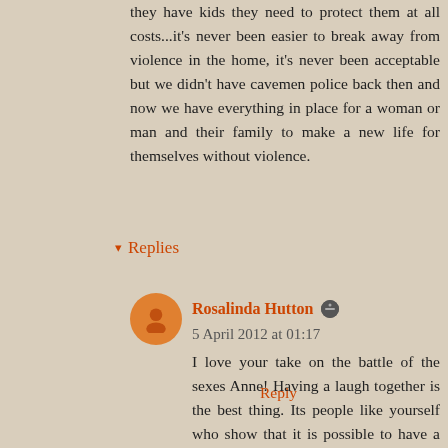they have kids they need to protect them at all costs...it's never been easier to break away from violence in the home, it's never been acceptable but we didn't have cavemen police back then and now we have everything in place for a woman or man and their family to make a new life for themselves without violence.
Reply
Replies
Rosalinda Hutton  5 April 2012 at 01:17
I love your take on the battle of the sexes Anne! Having a laugh together is the best thing. Its people like yourself who show that it is possible to have a healthy relationship.
Unfortunately, we are still indoctrinating our children to accept traditional roles without question. I would be astonished if I spoke to a little girl who doesn't love all things pink and wants a Cinderella wedding like Katie Price. As an old feminist, I despair.